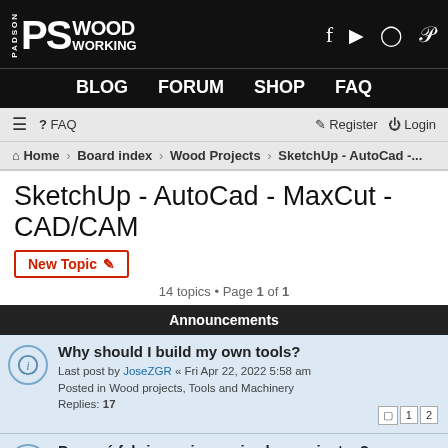PS Wood Working | BLOG | FORUM | SHOP | FAQ
≡ FAQ | Register Login
Home › Board index › Wood Projects › SketchUp - AutoCad -...
SketchUp - AutoCad - MaxCut - CAD/CAM
New Topic
14 topics • Page 1 of 1
Announcements
Why should I build my own tools?
Last post by JoseZGR « Fri Apr 22, 2022 5:58 am
Posted in Wood projects, Tools and Machinery
Replies: 17
Por qué fabricar mis propias herramientas?
Last post by Suso « Tue Jul 06, 2021 11:12 am
Posted in Wood projects, Tools and Machinery
Replies: 4
Topics